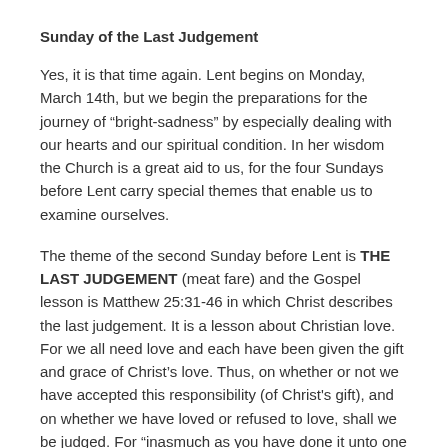Sunday of the Last Judgement
Yes, it is that time again. Lent begins on Monday, March 14th, but we begin the preparations for the journey of “bright-sadness” by especially dealing with our hearts and our spiritual condition. In her wisdom the Church is a great aid to us, for the four Sundays before Lent carry special themes that enable us to examine ourselves.
The theme of the second Sunday before Lent is THE LAST JUDGEMENT (meat fare) and the Gospel lesson is Matthew 25:31-46 in which Christ describes the last judgement. It is a lesson about Christian love. For we all need love and each have been given the gift and grace of Christ’s love. Thus, on whether or not we have accepted this responsibility (of Christ's gift), and on whether we have loved or refused to love, shall we be judged. For “inasmuch as you have done it unto one of the least of these my brethren, you have done it unto Me….”